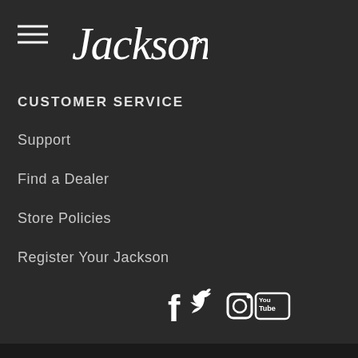[Figure (logo): Jackson guitars script logo in white on dark background]
CUSTOMER SERVICE
Support
Find a Dealer
Store Policies
Register Your Jackson
[Figure (infographic): Social media icons: Facebook, Twitter, Instagram, YouTube]